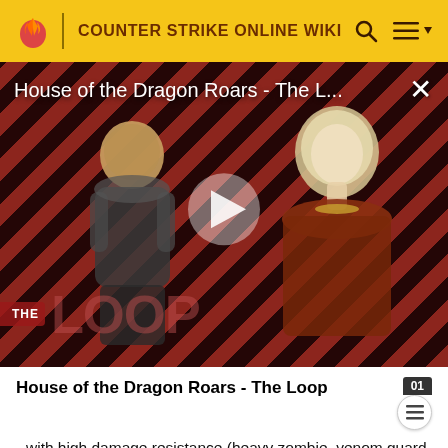COUNTER STRIKE ONLINE WIKI
[Figure (screenshot): Video thumbnail for 'House of the Dragon Roars - The Loop' showing two characters against a diagonal red and dark striped background with a play button overlay and The Loop watermark]
House of the Dragon Roars - The Loop
with high damage resistance (heavy zombie, venom guard, metatronic, tyrant, zombies hide in the smoke release by Psycho), since it guarantees the removal of half of their max hit point regardless of the damage